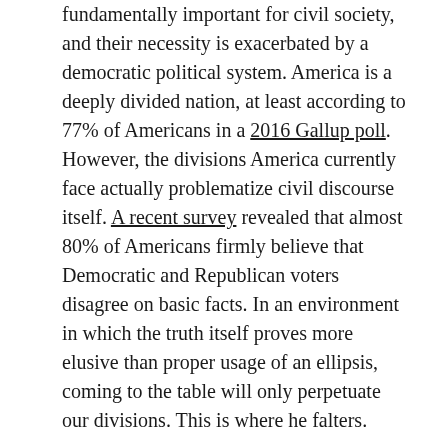fundamentally important for civil society, and their necessity is exacerbated by a democratic political system. America is a deeply divided nation, at least according to 77% of Americans in a 2016 Gallup poll. However, the divisions America currently face actually problematize civil discourse itself. A recent survey revealed that almost 80% of Americans firmly believe that Democratic and Republican voters disagree on basic facts. In an environment in which the truth itself proves more elusive than proper usage of an ellipsis, coming to the table will only perpetuate our divisions. This is where he falters.
Even if one believes that this factual divide can be overcome, and that civil discourse should be pursued, Green's article suffers from a lack of actual substance. Green's article fails to in any way advance our understanding of the practice of civil discourse.